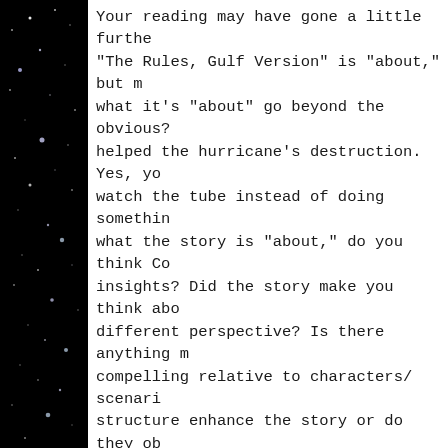[Figure (photo): Dark starfield background on the left panel with scattered white star dots on black background]
Your reading may have gone a little furthe "The Rules, Gulf Version" is "about," but m what it's "about" go beyond the obvious? helped the hurricane's destruction. Yes, yo watch the tube instead of doing somethin what the story is "about," do you think Co insights? Did the story make you think abo different perspective? Is there anything m compelling relative to characters/ scenari structure enhance the story or do they ob story or are you just proud of yourself for
Anyone can take a bucket of sand and sor at this level, comprehension is primarily a and willingness. What Alex brings up in his me (and to some of the other commenter is worth sorting and what is not. Cohen wr lines: the paragraph Alex references from "Emission" is a freaking wonder. That geniu in the context of a hokey, tacked-on fram